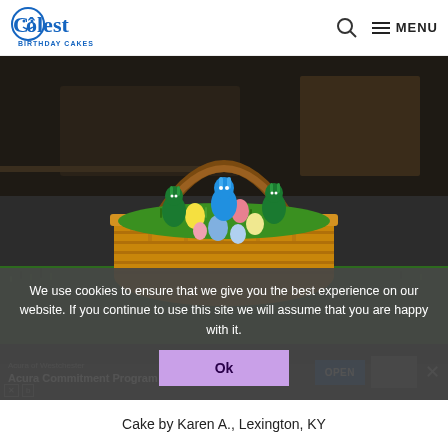Coolest Birthday Cakes — MENU
[Figure (photo): Photo of an Easter basket cake decorated with green coconut grass, candy Easter eggs, and bunny figurines, placed on a green frosted board. The basket is made from woven-patterned chocolate/caramel frosting.]
We use cookies to ensure that we give you the best experience on our website. If you continue to use this site we will assume that you are happy with it.
Ok
Acura of Westchester
Acura Commitment Program
Cake by Karen A., Lexington, KY